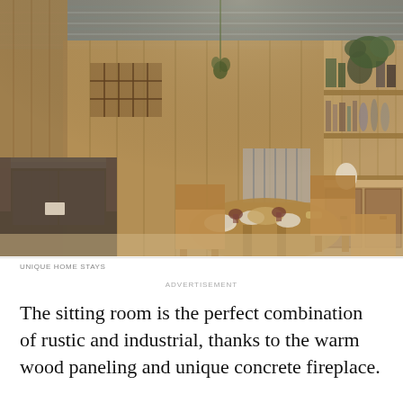[Figure (photo): Interior photo of a rustic sitting room with warm wood paneling on walls and ceiling, a round wooden dining table set with plates and drinks, wooden chairs, a dark velvet sofa on the left, open shelving with kitchen items on the right, a radiator in the background, and hanging decorative plants. The ceiling is corrugated metal.]
UNIQUE HOME STAYS
ADVERTISEMENT
The sitting room is the perfect combination of rustic and industrial, thanks to the warm wood paneling and unique concrete fireplace.